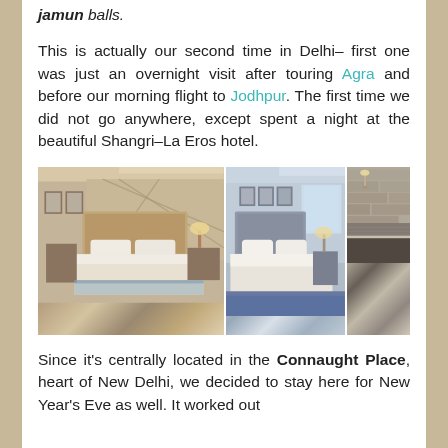jamun balls.
This is actually our second time in Delhi– first one was just an overnight visit after touring Agra and before our morning flight to Jodhpur. The first time we did not go anywhere, except spent a night at the beautiful Shangri–La Eros hotel.
[Figure (photo): Three hotel room photos showing luxury bedrooms at Shangri-La Eros hotel. Left: large room with beige upholstered headboard, white bedding, wooden furniture, warm lighting. Middle: room with blue carpet, white bedding, framed artwork on walls. Right: marble bathroom area with stone wall and lighting fixture.]
Since it's centrally located in the Connaught Place, heart of New Delhi, we decided to stay here for New Year's Eve as well. It worked out